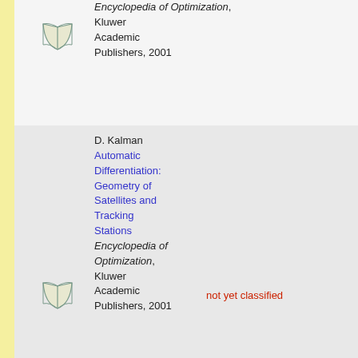Encyclopedia of Optimization, Kluwer Academic Publishers, 2001
D. Kalman Automatic Differentiation: Geometry of Satellites and Tracking Stations Encyclopedia of Optimization, Kluwer Academic Publishers, 2001 [not yet classified]
C. H. Bischof, H. M. Bücker, B. Lang, A. Rasch, J. W. Risch On the Use of a Differentiated Finite Element Package for Sensitivity Analysis Conference proceeding, Computational Science... Application Area: Computational Fluid Dynamics Tools: